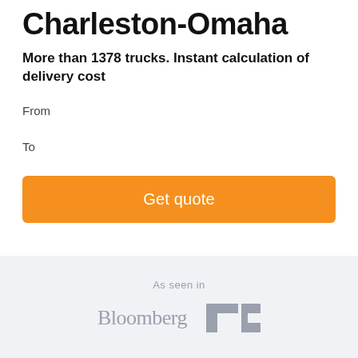Charleston-Omaha
More than 1378 trucks. Instant calculation of delivery cost
From
To
Get quote
As seen in
[Figure (logo): Bloomberg and TechCrunch logos in gray]